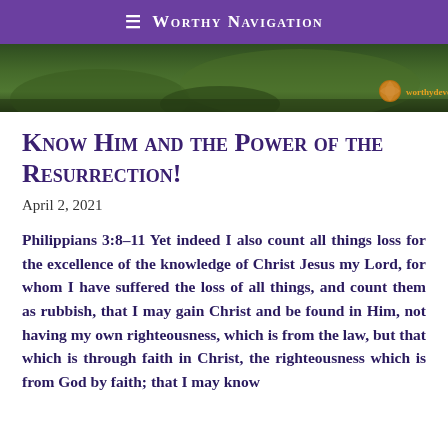≡ Worthy Navigation
[Figure (photo): Banner image showing a green pastoral landscape with trees and grass, with a globe icon and 'worthydevotions.com' watermark in the bottom right corner.]
Know Him and the Power of the Resurrection!
April 2, 2021
Philippians 3:8–11 Yet indeed I also count all things loss for the excellence of the knowledge of Christ Jesus my Lord, for whom I have suffered the loss of all things, and count them as rubbish, that I may gain Christ and be found in Him, not having my own righteousness, which is from the law, but that which is through faith in Christ, the righteousness which is from God by faith; that I may know